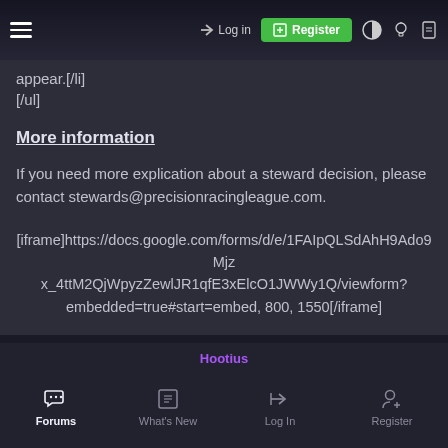☰  →) Log in  ⊞ Register  ◐  ♡  ▣
appear.[/li]
[/ul]
More information
If you need more explication about a steward decision, please contact stewards@precisionracingleague.com.
[iframe]https://docs.google.com/forms/d/e/1FAIpQLSdAhH9Ado9Mjzx_4ttM2QjWpyzZewlJR1qfE3xElcO1JWWy1Q/viewform?embedded=true#start=embed, 800, 1550[/iframe]
Hootius | Forums | What's New | Log In | Register